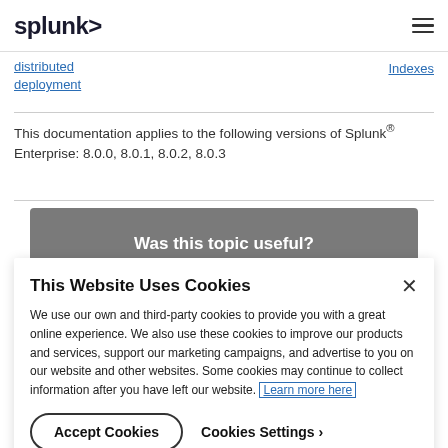splunk>
distributed deployment
Indexes
This documentation applies to the following versions of Splunk® Enterprise: 8.0.0, 8.0.1, 8.0.2, 8.0.3
Was this topic useful?
This Website Uses Cookies
We use our own and third-party cookies to provide you with a great online experience. We also use these cookies to improve our products and services, support our marketing campaigns, and advertise to you on our website and other websites. Some cookies may continue to collect information after you have left our website. Learn more here
Accept Cookies
Cookies Settings ›